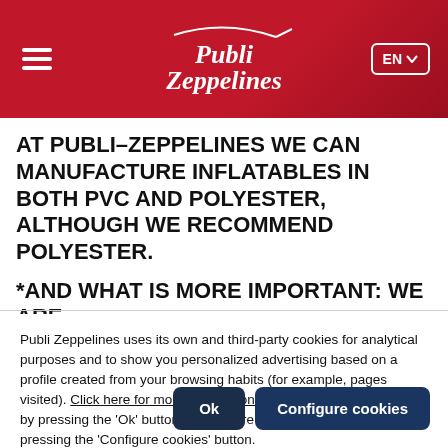[Figure (logo): Publi Zeppelines website header with red gradient background, hamburger menu icon on left, Publi Zeppelines logo in center, and EN language selector button on right]
AT PUBLI–ZEPPELINES WE CAN MANUFACTURE INFLATABLES IN BOTH PVC AND POLYESTER, ALTHOUGH WE RECOMMEND POLYESTER.
*AND WHAT IS MORE IMPORTANT: WE ARE
Publi Zeppelines uses its own and third-party cookies for analytical purposes and to show you personalized advertising based on a profile created from your browsing habits (for example, pages visited). Click here for more information. You can accept all cookies by pressing the 'Ok' button or configure or reject their use by pressing the 'Configure cookies' button.